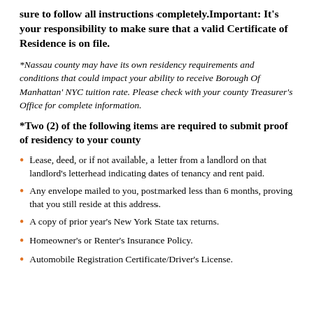sure to follow all instructions completely.Important: It's your responsibility to make sure that a valid Certificate of Residence is on file.
*Nassau county may have its own residency requirements and conditions that could impact your ability to receive Borough Of Manhattan' NYC tuition rate. Please check with your county Treasurer's Office for complete information.
*Two (2) of the following items are required to submit proof of residency to your county
Lease, deed, or if not available, a letter from a landlord on that landlord's letterhead indicating dates of tenancy and rent paid.
Any envelope mailed to you, postmarked less than 6 months, proving that you still reside at this address.
A copy of prior year's New York State tax returns.
Homeowner's or Renter's Insurance Policy.
Automobile Registration Certificate/Driver's License.